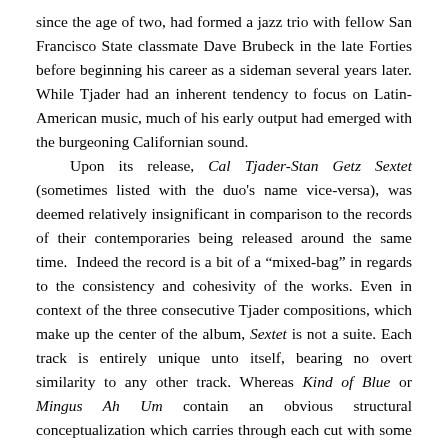since the age of two, had formed a jazz trio with fellow San Francisco State classmate Dave Brubeck in the late Forties before beginning his career as a sideman several years later. While Tjader had an inherent tendency to focus on Latin-American music, much of his early output had emerged with the burgeoning Californian sound.

Upon its release, Cal Tjader-Stan Getz Sextet (sometimes listed with the duo's name vice-versa), was deemed relatively insignificant in comparison to the records of their contemporaries being released around the same time. Indeed the record is a bit of a “mixed-bag” in regards to the consistency and cohesivity of the works. Even in context of the three consecutive Tjader compositions, which make up the center of the album, Sextet is not a suite. Each track is entirely unique unto itself, bearing no overt similarity to any other track. Whereas Kind of Blue or Mingus Ah Um contain an obvious structural conceptualization which carries through each cut with some intrinsic consistency, Sextet operates contrary to this foundation.

At eleven minutes in length, “Ginza Samba,” is the longest